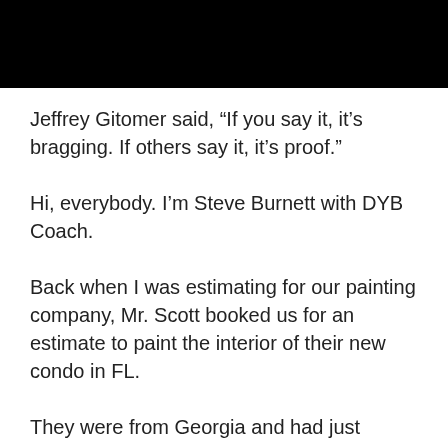[Figure (photo): Top portion of an image with a black rectangle and a thin colored strip at the very top (blue and gold/yellow).]
Jeffrey Gitomer said, “If you say it, it’s bragging. If others say it, it’s proof.”
Hi, everybody. I’m Steve Burnett with DYB Coach.
Back when I was estimating for our painting company, Mr. Scott booked us for an estimate to paint the interior of their new condo in FL.
They were from Georgia and had just